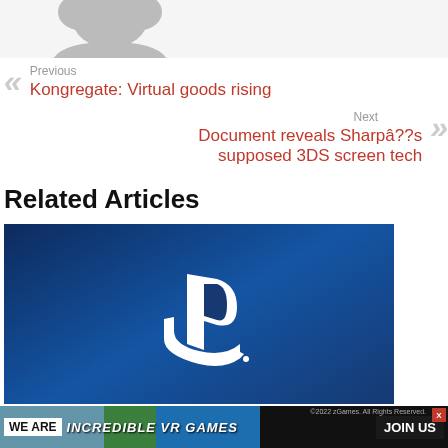[Figure (illustration): Partial avatar/profile image cropped at top, showing gray silhouette of a person]
Previous
Kongregate: Virtual goods rising
Next
Document reveals Sharpâ??s supposed 3DS screen tech
Related Articles
[Figure (photo): PlayStation logo (white PS symbol) on dark blue gradient background]
[Figure (illustration): Advertisement banner: WE ARE INCREDIBLE VR GAMES with JOIN US button and colorful city/balloon illustration]